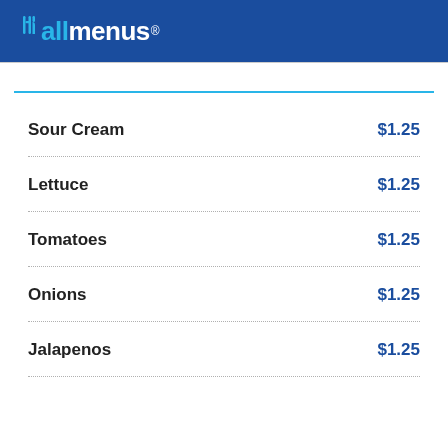allmenus
Sour Cream  $1.25
Lettuce  $1.25
Tomatoes  $1.25
Onions  $1.25
Jalapenos  $1.25